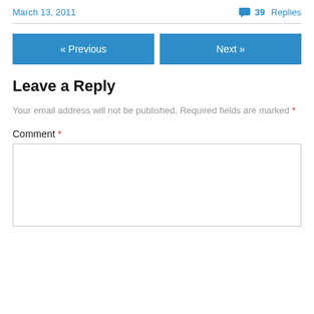March 13, 2011    💬 39 Replies
« Previous    Next »
Leave a Reply
Your email address will not be published. Required fields are marked *
Comment *